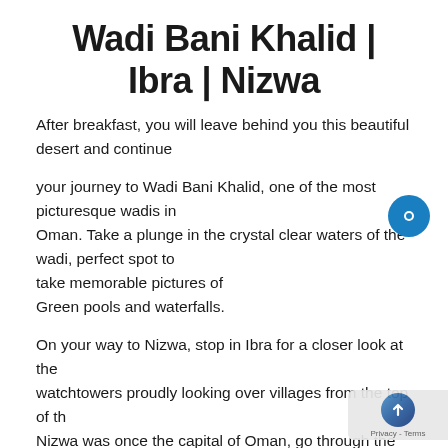Wadi Bani Khalid | Ibra | Nizwa
After breakfast, you will leave behind you this beautiful desert and continue
your journey to Wadi Bani Khalid, one of the most picturesque wadis in Oman. Take a plunge in the crystal clear waters of the wadi, perfect spot to take memorable pictures of Green pools and waterfalls.
On your way to Nizwa, stop in Ibra for a closer look at the watchtowers proudly looking over villages from the top of th... Nizwa was once the capital of Oman, go through the traditi... craft Souk ….before visiting